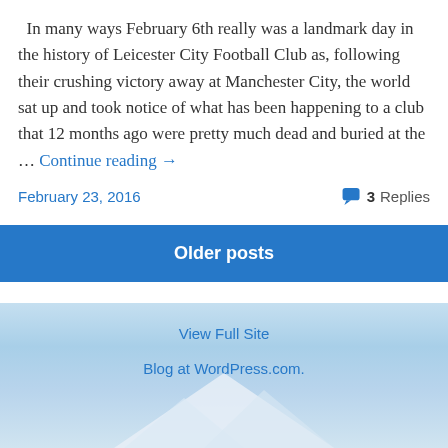In many ways February 6th really was a landmark day in the history of Leicester City Football Club as, following their crushing victory away at Manchester City, the world sat up and took notice of what has been happening to a club that 12 months ago were pretty much dead and buried at the … Continue reading →
February 23, 2016    3 Replies
Older posts
View Full Site
Blog at WordPress.com.